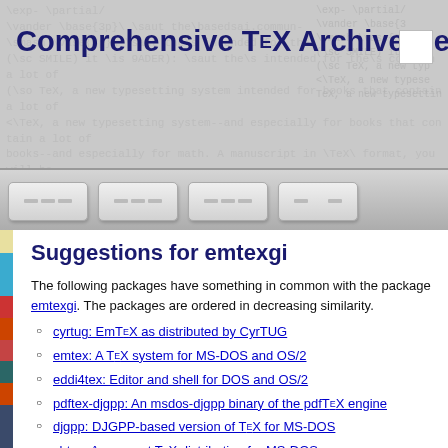Comprehensive TeX Archive Network
[Figure (screenshot): CTAN website navigation bar with four grey rounded-rectangle buttons]
Suggestions for emtexgi
The following packages have something in common with the package emtexgi. The packages are ordered in decreasing similarity.
cyrtug: EmTeX as distributed by CyrTUG
emtex: A TeX system for MS-DOS and OS/2
eddi4tex: Editor and shell for DOS and OS/2
pdftex-djgpp: An msdos-djgpp binary of the pdfTeX engine
djgpp: DJGPP-based version of TeX for MS-DOS
sbtex: A compact TeX distribution for MS-DOS
texniccenter: An IDE for LaTeX on MSWindows